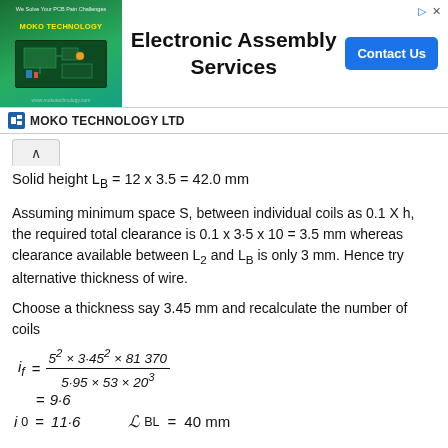[Figure (other): Advertisement banner for MOKO Technology Ltd – Electronic Assembly Services with Contact Us button]
Solid height L_B = 12 x 3.5 = 42.0 mm
Assuming minimum space S, between individual coils as 0.1 X h, the required total clearance is 0.1 x 3·5 x 10 = 3.5 mm whereas clearance available between L_2 and L_B is only 3 mm. Hence try alternative thickness of wire.
Choose a thickness say 3.45 mm and recalculate the number of coils